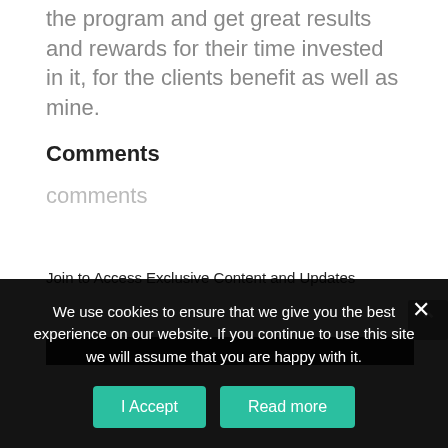the program and get great results and rewards for their time invested in it, for the clients benefit as well as mine.
Comments
comments
Join to Access Exclusive Content and Updates
We use cookies to ensure that we give you the best experience on our website. If you continue to use this site we will assume that you are happy with it.
I Accept
Read more